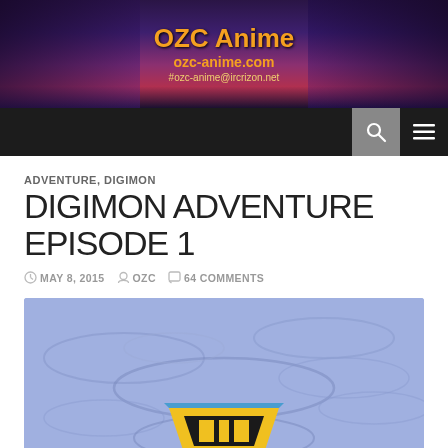[Figure (illustration): OZC Anime website header banner with anime characters, site name 'OZC Anime', URL 'ozc-anime.com', and IRC '#ozc-anime@ircrizon.net']
OZC Anime | ozc-anime.com | #ozc-anime@ircrizon.net
ADVENTURE, DIGIMON
DIGIMON ADVENTURE EPISODE 1
MAY 8, 2015  OZC  64 COMMENTS
[Figure (illustration): Digimon Adventure promotional image with blue water ripple background and Digimon logo (yellow/black crest) at the bottom center]